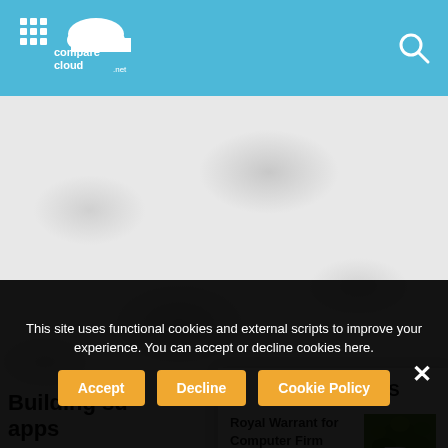CompareCloud.net
[Figure (screenshot): Cloud-textured gray background banner image placeholder]
Building su... apps
Dinesh Rao -
MORE STORIES
Royal Warrant for Computer Firm Crowned Britain's Best Rural
[Figure (logo): Green leafy R logo for rural story thumbnail]
This site uses functional cookies and external scripts to improve your experience. You can accept or decline cookies here.